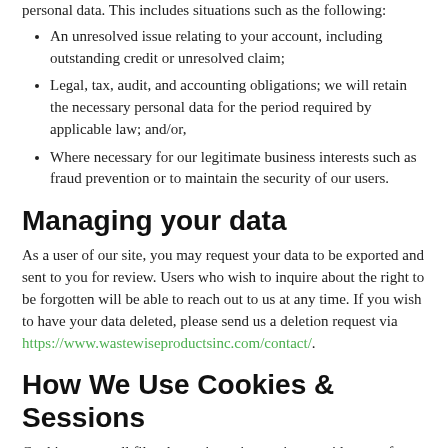personal data. This includes situations such as the following:
An unresolved issue relating to your account, including outstanding credit or unresolved claim;
Legal, tax, audit, and accounting obligations; we will retain the necessary personal data for the period required by applicable law; and/or,
Where necessary for our legitimate business interests such as fraud prevention or to maintain the security of our users.
Managing your data
As a user of our site, you may request your data to be exported and sent to you for review. Users who wish to inquire about the right to be forgotten will be able to reach out to us at any time. If you wish to have your data deleted, please send us a deletion request via https://www.wastewiseproductsinc.com/contact/.
How We Use Cookies & Sessions
Cookies are small files that a site or its service provider transfers to your computers hard drive thru your Web browser (if you allow) that enables the sites or service providers systems to recognize